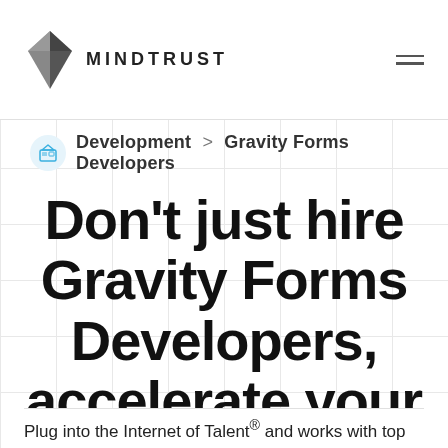MINDTRUST
Development > Gravity Forms Developers
Don't just hire Gravity Forms Developers, accelerate your roadmap
Plug into the Internet of Talent® and works with top